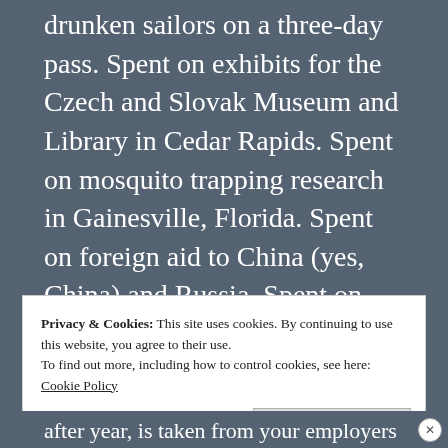drunken sailors on a three-day pass. Spent on exhibits for the Czech and Slovak Museum and Library in Cedar Rapids. Spent on mosquito trapping research in Gainesville, Florida. Spent on foreign aid to China (yes, China) and Russia. Spent on U.S. troops in 150 countries. Spent on a war in Afghanistan that has no end, for people who despise us, for no discernible goal or outcome.
Privacy & Cookies: This site uses cookies. By continuing to use this website, you agree to their use.
To find out more, including how to control cookies, see here:
Cookie Policy
after year, is taken from your employers each in